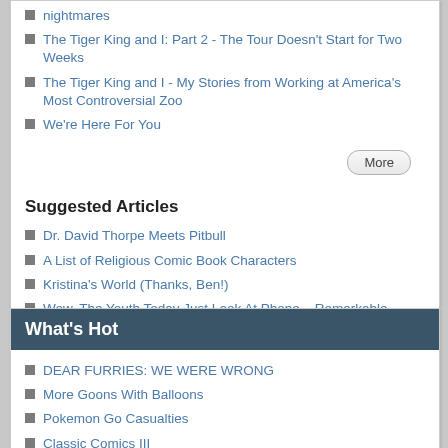nightmares
The Tiger King and I: Part 2 - The Tour Doesn't Start for Two Weeks
The Tiger King and I - My Stories from Working at America's Most Controversial Zoo
We're Here For You
Suggested Articles
Dr. David Thorpe Meets Pitbull
A List of Religious Comic Book Characters
Kristina's World (Thanks, Ben!)
Wow. The Youth Today Just Look At Phone... Remarkable
Big Nose Appreciation Discussion Board (Thanks, John Williams!)
What's Hot
DEAR FURRIES: WE WERE WRONG
More Goons With Balloons
Pokemon Go Casualties
Classic Comics III
Star Trek Bonanza